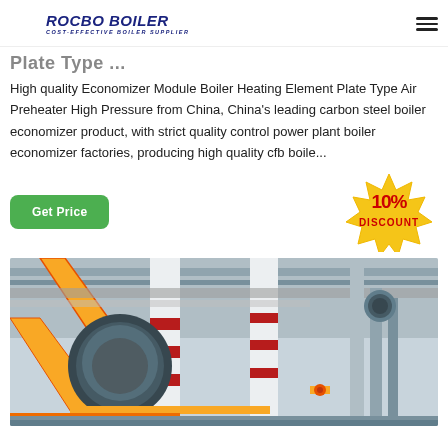ROCBO BOILER — COST-EFFECTIVE BOILER SUPPLIER
Plate Type ...
High quality Economizer Module Boiler Heating Element Plate Type Air Preheater High Pressure from China, China's leading carbon steel boiler economizer product, with strict quality control power plant boiler economizer factories, producing high quality cfb boile...
[Figure (infographic): 10% DISCOUNT badge in red and yellow starburst style]
[Figure (photo): Industrial boiler room interior with large yellow pipes, columns, boiler equipment, and metal pipework infrastructure]